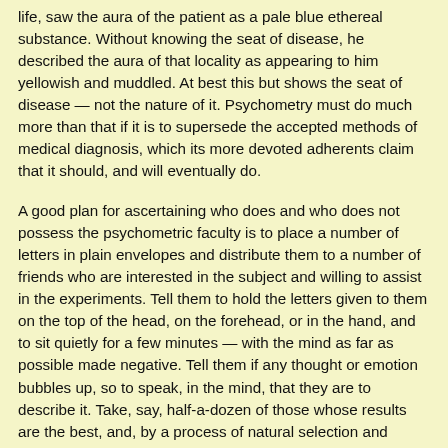life, saw the aura of the patient as a pale blue ethereal substance. Without knowing the seat of disease, he described the aura of that locality as appearing to him yellowish and muddled. At best this but shows the seat of disease — not the nature of it. Psychometry must do much more than that if it is to supersede the accepted methods of medical diagnosis, which its more devoted adherents claim that it should, and will eventually do.
A good plan for ascertaining who does and who does not possess the psychometric faculty is to place a number of letters in plain envelopes and distribute them to a number of friends who are interested in the subject and willing to assist in the experiments. Tell them to hold the letters given to them on the top of the head, on the forehead, or in the hand, and to sit quietly for a few minutes — with the mind as far as possible made negative. Tell them if any thought or emotion bubbles up, so to speak, in the mind, that they are to describe it. Take, say, half-a-dozen of those whose results are the best, and, by a process of natural selection and survival of the fittest, the best two or three psychometers may be selected.
As a general rule, persons of highly strung nervous organization make the best psychometers. It is important to